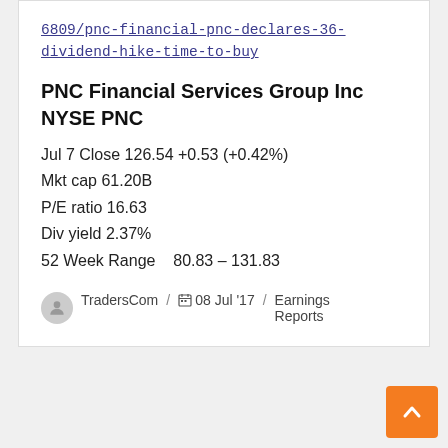6809/pnc-financial-pnc-declares-36-dividend-hike-time-to-buy
PNC Financial Services Group Inc NYSE PNC
Jul 7 Close 126.54 +0.53 (+0.42%)
Mkt cap 61.20B
P/E ratio 16.63
Div yield 2.37%
52 Week Range   80.83 – 131.83
TradersCom / 08 Jul '17 / Earnings Reports